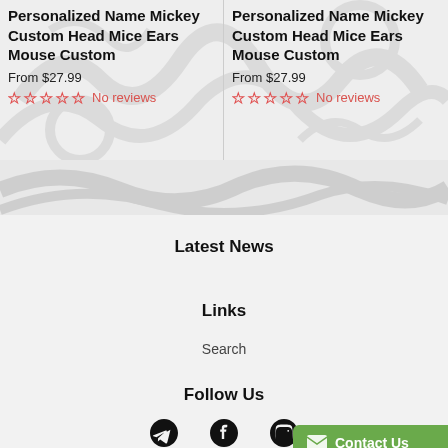Personalized Name Mickey Custom Head Mice Ears Mouse Custom
From $27.99
No reviews
Personalized Name Mickey Custom Head Mice Ears Mouse Custom
From $27.99
No reviews
Latest News
Links
Search
Follow Us
Contact Us